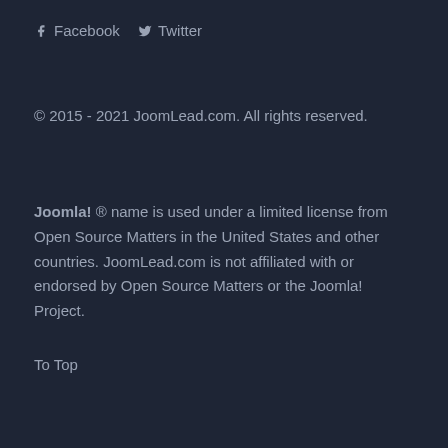Facebook  Twitter
© 2015 - 2021 JoomLead.com. All rights reserved.
Joomla! ® name is used under a limited license from Open Source Matters in the United States and other countries. JoomLead.com is not affiliated with or endorsed by Open Source Matters or the Joomla! Project.
To Top